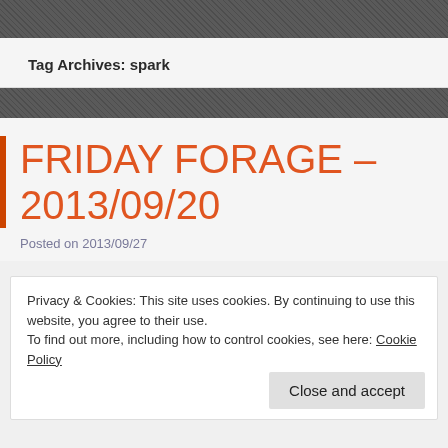Tag Archives: spark
FRIDAY FORAGE – 2013/09/20
Posted on 2013/09/27
Privacy & Cookies: This site uses cookies. By continuing to use this website, you agree to their use.
To find out more, including how to control cookies, see here: Cookie Policy